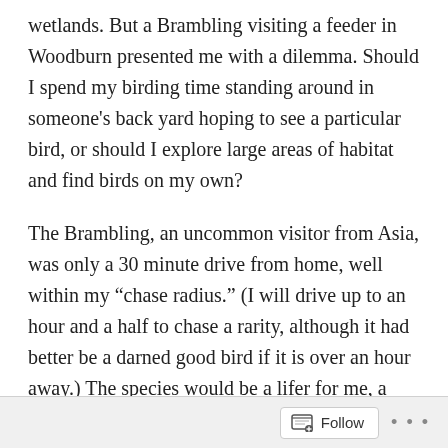wetlands. But a Brambling visiting a feeder in Woodburn presented me with a dilemma. Should I spend my birding time standing around in someone's back yard hoping to see a particular bird, or should I explore large areas of habitat and find birds on my own?
The Brambling, an uncommon visitor from Asia, was only a 30 minute drive from home, well within my “chase radius.” (I will drive up to an hour and a half to chase a rarity, although it had better be a darned good bird if it is over an hour away.) The species would be a lifer for me, a nice tick on my Oregon list, and this would perhaps be my only chance to see this species. Then again, if the bird didn’t show up, I would have spent my limited birding time not looking at birds. With some reluctance, I decided to go for the twitch.
Follow ...